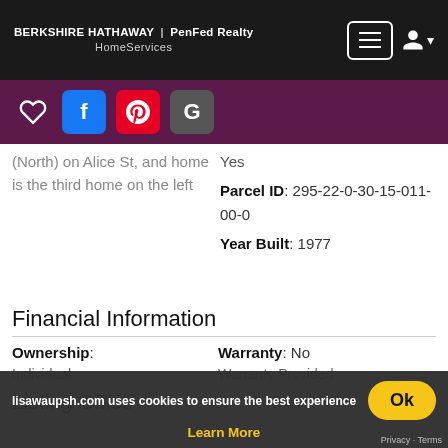BERKSHIRE HATHAWAY | PenFed Realty HomeServices
[Figure (screenshot): Social sharing bar with heart icon, Facebook, Pinterest, and Google buttons on purple background]
(North) on Alice St, and home is the third home on the left
Yes
Parcel ID: 295-22-0-30-15-011-00-0
Year Built: 1977
Financial Information
Ownership: Individual
Warranty: No Warranty Provided
Listing Office
lisawaupsh.com uses cookies to ensure the best experience
Learn More